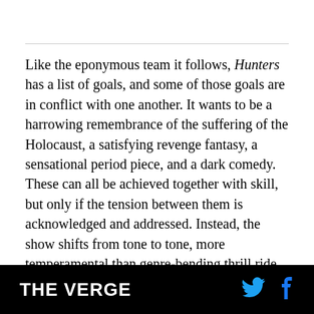Like the eponymous team it follows, Hunters has a list of goals, and some of those goals are in conflict with one another. It wants to be a harrowing remembrance of the suffering of the Holocaust, a satisfying revenge fantasy, a sensational period piece, and a dark comedy. These can all be achieved together with skill, but only if the tension between them is acknowledged and addressed. Instead, the show shifts from tone to tone, more temperamental than genre-bending thrill ride.

It's frustrating because even the ridiculous, preening
THE VERGE